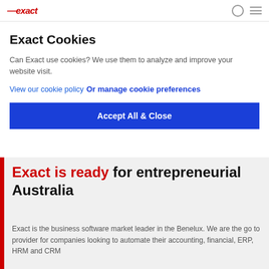exact (logo) [nav icons]
Exact Cookies
Can Exact use cookies? We use them to analyze and improve your website visit.
View our cookie policy
Or manage cookie preferences
Accept All & Close
Exact is ready for entrepreneurial Australia
Exact is the business software market leader in the Benelux. We are the go to provider for companies looking to automate their accounting, financial, ERP, HRM and CRM